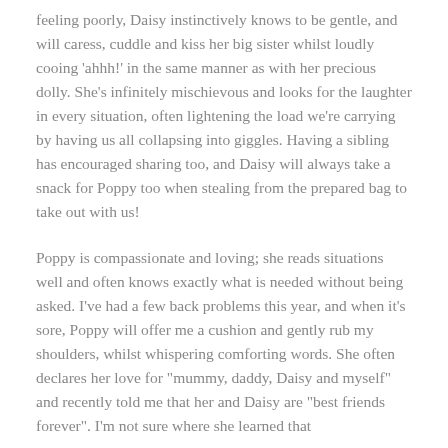feeling poorly, Daisy instinctively knows to be gentle, and will caress, cuddle and kiss her big sister whilst loudly cooing 'ahhh!' in the same manner as with her precious dolly. She's infinitely mischievous and looks for the laughter in every situation, often lightening the load we're carrying by having us all collapsing into giggles. Having a sibling has encouraged sharing too, and Daisy will always take a snack for Poppy too when stealing from the prepared bag to take out with us!
Poppy is compassionate and loving; she reads situations well and often knows exactly what is needed without being asked. I've had a few back problems this year, and when it's sore, Poppy will offer me a cushion and gently rub my shoulders, whilst whispering comforting words. She often declares her love for "mummy, daddy, Daisy and myself" and recently told me that her and Daisy are "best friends forever". I'm not sure where she learned that